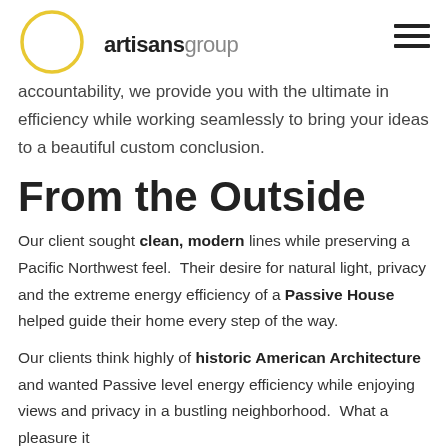artisansgroup
accountability, we provide you with the ultimate in efficiency while working seamlessly to bring your ideas to a beautiful custom conclusion.
From the Outside
Our client sought clean, modern lines while preserving a Pacific Northwest feel.  Their desire for natural light, privacy and the extreme energy efficiency of a Passive House helped guide their home every step of the way.
Our clients think highly of historic American Architecture and wanted Passive level energy efficiency while enjoying views and privacy in a bustling neighborhood.  What a pleasure it